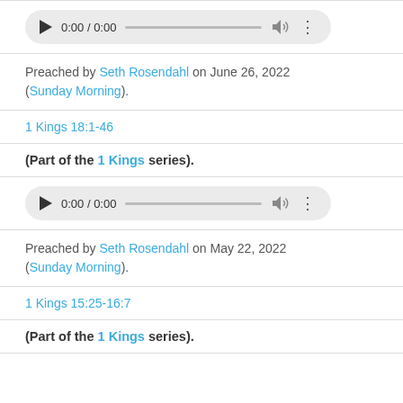[Figure (other): Audio player widget showing 0:00 / 0:00 with play button, progress bar, volume icon, and menu dots]
Preached by Seth Rosendahl on June 26, 2022 (Sunday Morning).
1 Kings 18:1-46
(Part of the 1 Kings series).
[Figure (other): Audio player widget showing 0:00 / 0:00 with play button, progress bar, volume icon, and menu dots]
Preached by Seth Rosendahl on May 22, 2022 (Sunday Morning).
1 Kings 15:25-16:7
(Part of the 1 Kings series).